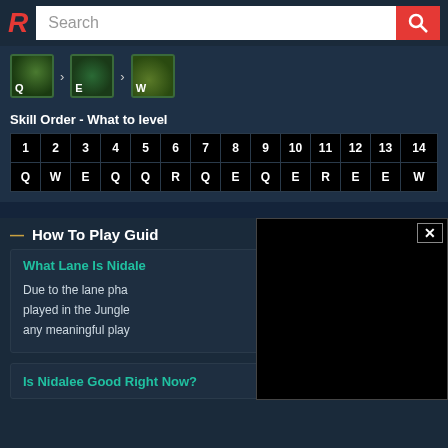R Search
[Figure (screenshot): Skill icons showing Q, E, W ability icons with arrows between them indicating skill priority order]
Skill Order - What to level
| 1 | 2 | 3 | 4 | 5 | 6 | 7 | 8 | 9 | 10 | 11 | 12 | 13 | 14 |
| --- | --- | --- | --- | --- | --- | --- | --- | --- | --- | --- | --- | --- | --- |
| Q | W | E | Q | Q | R | Q | E | Q | E | R | E | E | W |
How To Play Guide
What Lane Is Nidale
Due to the lane pha played in the Jungle any meaningful play
Is Nidalee Good Right Now?